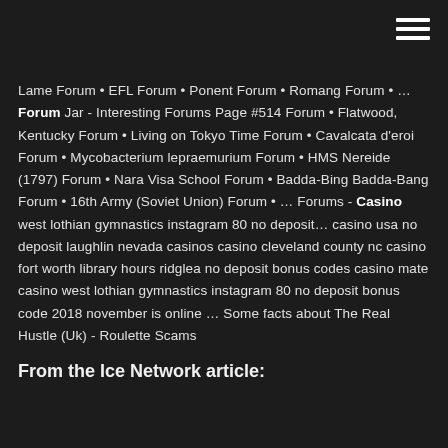Lame Forum • EFL Forum • Ponent Forum • Romang Forum • … Forum Jar - Interesting Forums Page #514 Forum • Flatwood, Kentucky Forum • Living on Tokyo Time Forum • Cavalcata d'eroi Forum • Mycobacterium lepraemurium Forum • HMS Nereide (1797) Forum • Nara Visa School Forum • Badda-Bing Badda-Bang Forum • 16th Army (Soviet Union) Forum • … Forums - Casino west lothian gymnastics instagram 80 no deposit… casino usa no deposit laughlin nevada casinos casino cleveland county nc casino fort worth library hours ridglea no deposit bonus codes casino mate casino west lothian gymnastics instagram 80 no deposit bonus code 2018 november is online … Some facts about The Real Hustle (Uk) - Roulette Scams
From the Ice Network article: